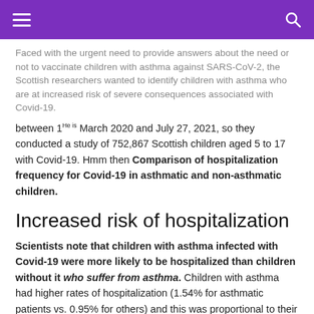≡  🔍
Faced with the urgent need to provide answers about the need or not to vaccinate children with asthma against SARS-CoV-2, the Scottish researchers wanted to identify children with asthma who are at increased risk of severe consequences associated with Covid-19.
between 1He is March 2020 and July 27, 2021, so they conducted a study of 752,867 Scottish children aged 5 to 17 with Covid-19. Hmm then Comparison of hospitalization frequency for Covid-19 in asthmatic and non-asthmatic children.
Increased risk of hospitalization
Scientists note that children with asthma infected with Covid-19 were more likely to be hospitalized than children without it who suffer from asthma. Children with asthma had higher rates of hospitalization (1.54% for asthmatic patients vs. 0.95% for others) and this was proportional to their asthma severity (3 to 6 times more dependent on disease severity risk).